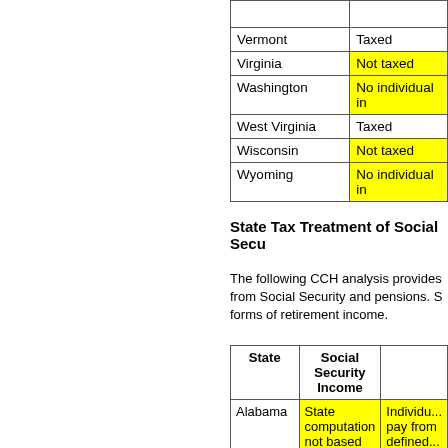| State | Status |
| --- | --- |
|  |  |
| Vermont | Taxed |
| Virginia | Not taxed |
| Washington | No individual in |
| West Virginia | Taxed |
| Wisconsin | Not taxed |
| Wyoming | No individual in |
State Tax Treatment of Social Secu...
The following CCH analysis provides ... from Social Security and pensions. S... forms of retirement income.
| State | Social Security Income |  |
| --- | --- | --- |
| Alabama | State computation not based on federal. Social Security benefits excluded | Individu... pay from defined... |